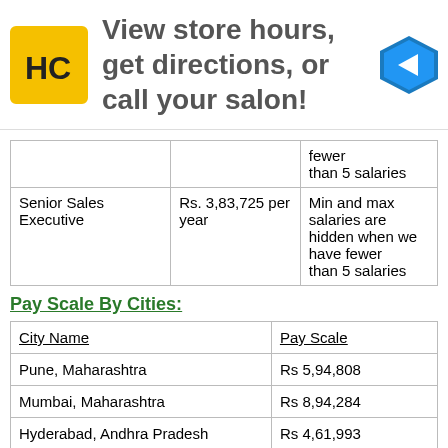[Figure (other): Advertisement banner: HC logo (yellow square with HC letters) and text 'View store hours, get directions, or call your salon!' with a blue navigation arrow icon]
|  |  |  |
| --- | --- | --- |
|  |  | fewer
than 5 salaries |
| Senior Sales Executive | Rs. 3,83,725 per year | Min and max salaries are hidden when we have fewer than 5 salaries |
Pay Scale By Cities:
| City Name | Pay Scale |
| --- | --- |
| Pune, Maharashtra | Rs 5,94,808 |
| Mumbai, Maharashtra | Rs 8,94,284 |
| Hyderabad, Andhra Pradesh | Rs 4,61,993 |
| Bangalore, Karnataka | Rs 5,40,808 |